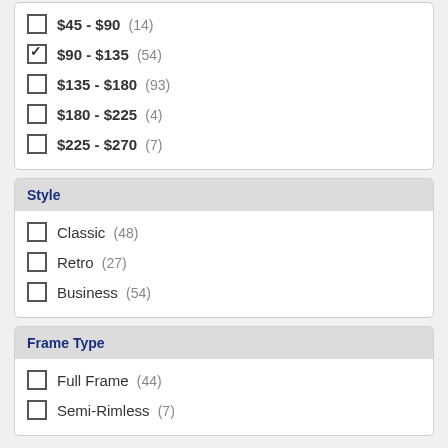$45 - $90 (14)
$90 - $135 (54) [checked]
$135 - $180 (93)
$180 - $225 (4)
$225 - $270 (7)
Style
Classic (48)
Retro (27)
Business (54)
Frame Type
Full Frame (44)
Semi-Rimless (7)